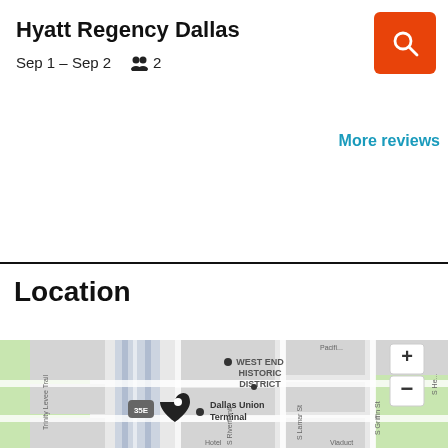Hyatt Regency Dallas
Sep 1 – Sep 2   2
More reviews
Location
[Figure (map): Street map showing West End Historic District in Dallas, Texas. Map displays highway 35E, S Riverfront, S Lamar St, S Griffin St, Dallas Union Terminal, Trinity Levee Trail, Pacific Ave, and a hotel location pin marker. Map controls show + and – zoom buttons in upper right.]